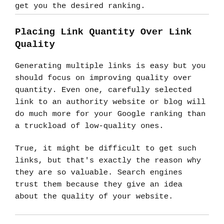get you the desired ranking.
Placing Link Quantity Over Link Quality
Generating multiple links is easy but you should focus on improving quality over quantity. Even one, carefully selected link to an authority website or blog will do much more for your Google ranking than a truckload of low-quality ones.
True, it might be difficult to get such links, but that's exactly the reason why they are so valuable. Search engines trust them because they give an idea about the quality of your website.